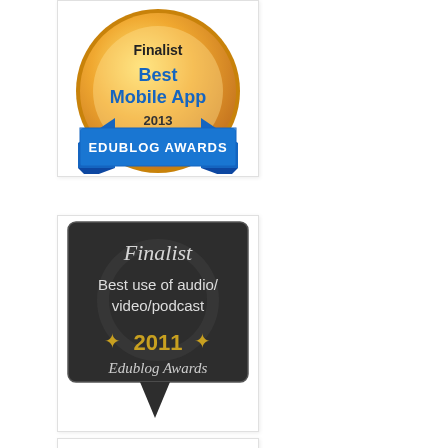[Figure (illustration): Gold medal badge: 'Finalist Best Mobile App EDUBLOG AWARDS 2013' - gold circular medal with blue ribbon and banner]
[Figure (illustration): Dark chalkboard speech bubble badge: 'Finalist Best use of audio/video/podcast ★ 2011 ★ Edublog Awards']
[Figure (illustration): Partial view of a third award badge with blue mountain-like shapes visible at the bottom of the page]